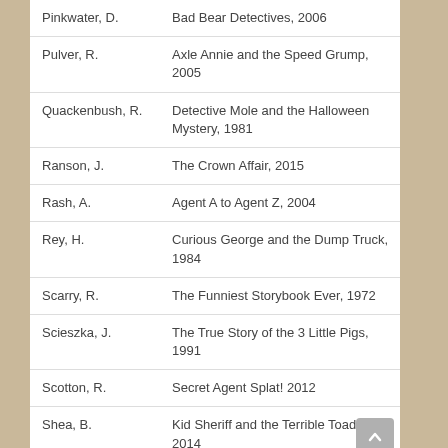| Author | Title, Year |
| --- | --- |
| Pinkwater, D. | Bad Bear Detectives, 2006 |
| Pulver, R. | Axle Annie and the Speed Grump, 2005 |
| Quackenbush, R. | Detective Mole and the Halloween Mystery, 1981 |
| Ranson, J. | The Crown Affair, 2015 |
| Rash, A. | Agent A to Agent Z, 2004 |
| Rey, H. | Curious George and the Dump Truck, 1984 |
| Scarry, R. | The Funniest Storybook Ever, 1972 |
| Scieszka, J. | The True Story of the 3 Little Pigs, 1991 |
| Scotton, R. | Secret Agent Splat!  2012 |
| Shea, B. | Kid Sheriff and the Terrible Toads, 2014 |